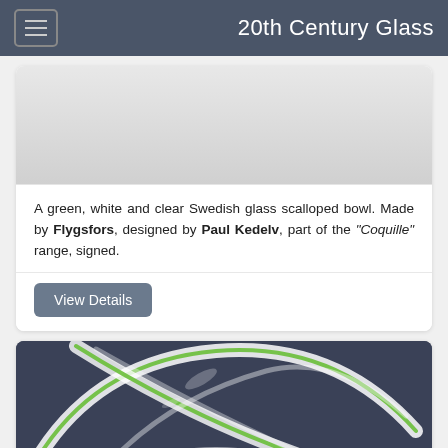20th Century Glass
[Figure (photo): Top portion of a glass product — light gray/white background, partial product image cropped]
A green, white and clear Swedish glass scalloped bowl. Made by Flygsfors, designed by Paul Kedelv, part of the "Coquille" range, signed.
View Details
[Figure (photo): Photograph of a green, white and clear glass scalloped bowl (Coquille by Flygsfors/Paul Kedelv) on a dark blue-gray background, showing curved scalloped edges with green stripe detail]